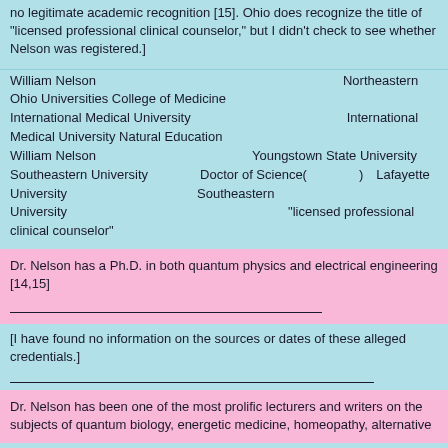no legitimate academic recognition [15]. Ohio does recognize the title of "licensed professional clinical counselor," but I didn't check to see whether Nelson was registered.]
William Nelson[Japanese text]Northeastern Ohio Universities College of Medicine[Japanese text]International Medical University[Japanese text]International Medical University Natural Education[Japanese text]William Nelson[Japanese text]Youngstown State University[Japanese text]Southeastern University[Japanese text]Doctor of Science([Japanese text])Lafayette University[Japanese text]Southeastern University[Japanese text]"licensed professional clinical counselor"[Japanese text]
Dr. Nelson has a Ph.D. in both quantum physics and electrical engineering [14,15]
[Japanese text underlined]
[I have found no information on the sources or dates of these alleged credentials.]
[Japanese text underlined]
Dr. Nelson has been one of the most prolific lecturers and writers on the subjects of quantum biology, energetic medicine, homeopathy, alternative